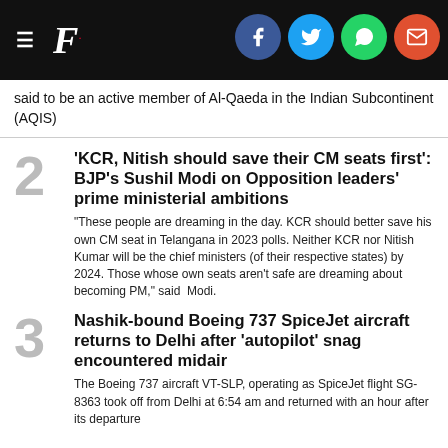F. [Firstpost logo with social icons: Facebook, Twitter, WhatsApp, Email]
said to be an active member of Al-Qaeda in the Indian Subcontinent (AQIS)
'KCR, Nitish should save their CM seats first': BJP's Sushil Modi on Opposition leaders' prime ministerial ambitions
"These people are dreaming in the day. KCR should better save his own CM seat in Telangana in 2023 polls. Neither KCR nor Nitish Kumar will be the chief ministers (of their respective states) by 2024. Those whose own seats aren't safe are dreaming about becoming PM," said  Modi.
Nashik-bound Boeing 737 SpiceJet aircraft returns to Delhi after 'autopilot' snag encountered midair
The Boeing 737 aircraft VT-SLP, operating as SpiceJet flight SG-8363 took off from Delhi at 6:54 am and returned with an hour after its departure